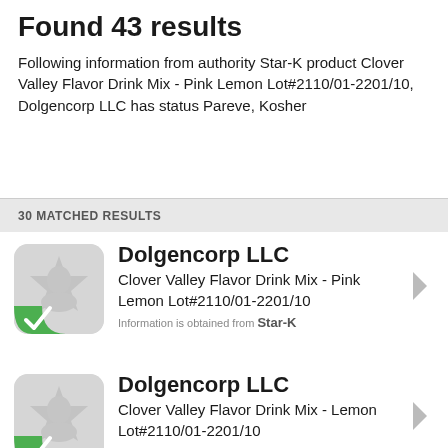Found 43 results
Following information from authority Star-K product Clover Valley Flavor Drink Mix - Pink Lemon Lot#2110/01-2201/10, Dolgencorp LLC has status Pareve, Kosher
30 MATCHED RESULTS
Dolgencorp LLC — Clover Valley Flavor Drink Mix - Pink Lemon Lot#2110/01-2201/10 — Information is obtained from Star-K
Dolgencorp LLC — Clover Valley Flavor Drink Mix - Lemon Lot#2110/01-2201/10 — Information is obtained from Star-K